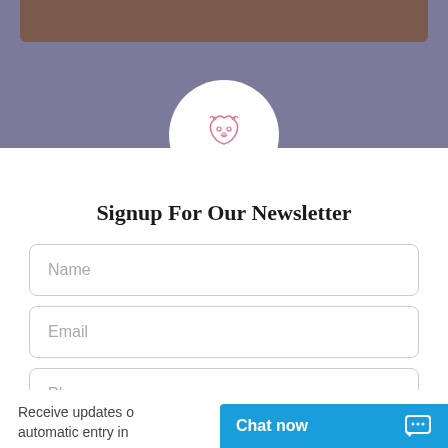[Figure (logo): Puppy Heaven teacup and toy puppies logo — pink line-art puppy inside white circle on purple/grey banner background]
Signup For Our Newsletter
Name
Email
Phone
Subscribe
Receive updates o… automatic entry in…
Chat now